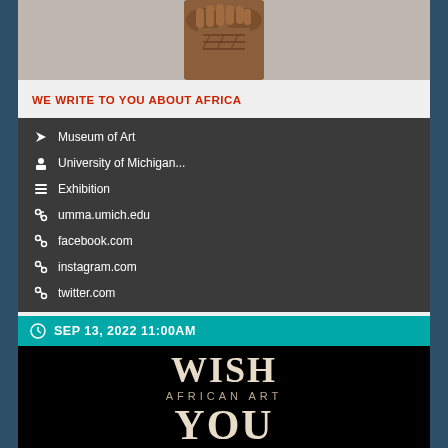[Figure (photo): Close-up photo of a carved wooden African sculpture with hands/geometric patterns, shown against a light grey background]
WE WRITE TO YOU ABOUT AFRICA
Museum of Art
University of Michigan...
Exhibition
umma.umich.edu
facebook.com
instagram.com
twitter.com
SEP 13, 2022 11:00AM
[Figure (photo): Exhibition poster for 'WISH YOU WERE HERE: African Art and Restitution' on black background with large cream-colored text]